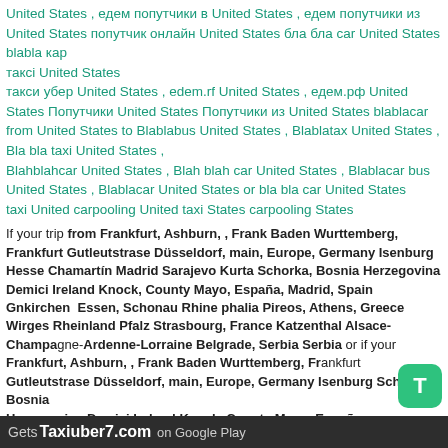United States , едем попутчики в United States , едем попутчики из United States попутчик онлайн United States бла бла car United States blabla кар
таксi United States
такси убер United States , edem.rf United States , едем.рф United States Попутчики United States Попутчики из United States blablacar from United States to Blablabus United States , Blablatax United States , Bla bla taxi United States ,
Blahblahcar United States , Blah blah car United States , Blablacar bus United States , Blablacar United States or bla bla car United States
taxi United carpooling United taxi States carpooling States
If your trip from Frankfurt, Ashburn, , Frank Baden Wurttemberg, Frankfurt Gutleutstrase Düsseldorf, main, Europe, Germany Isenburg Hesse Chamartín Madrid Sarajevo Kurta Schorka, Bosnia Herzegovina Demici Ireland Knock, County Mayo, España, Madrid, Spain Gnkirchen  Essen, Schonau Rhine phalia Pireos, Athens, Greece Wirges Rheinland Pfalz Strasbourg, France Katzenthal Alsace-Champagne-Ardenne-Lorraine Belgrade, Serbia Serbia or if your Frankfurt, Ashburn, , Frank Baden Wurttemberg, Frankfurt Gutleutstrase Düsseldorf, main, Europe, Germany Isenburg Schorka, Bosnia Herzegovina Demici Ireland Knock, County Mayo, España,
Gets Taxiuber7.com on Google Play